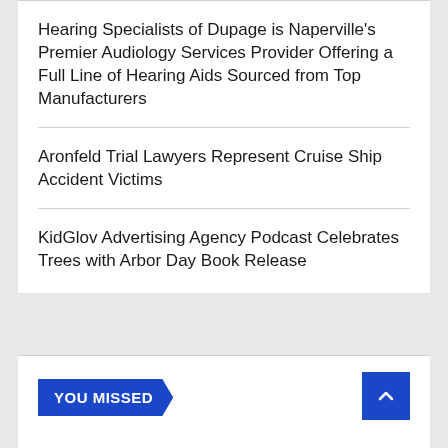Hearing Specialists of Dupage is Naperville's Premier Audiology Services Provider Offering a Full Line of Hearing Aids Sourced from Top Manufacturers
Aronfeld Trial Lawyers Represent Cruise Ship Accident Victims
KidGlov Advertising Agency Podcast Celebrates Trees with Arbor Day Book Release
YOU MISSED